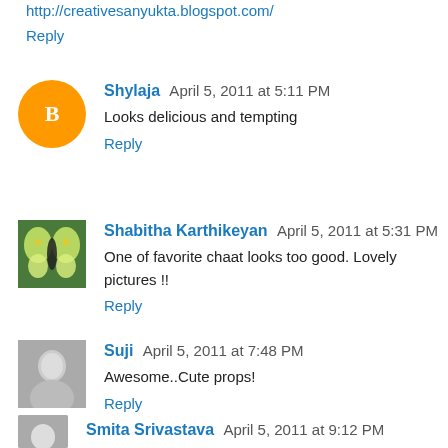http://creativesanyukta.blogspot.com/
Reply
Shylaja  April 5, 2011 at 5:11 PM
Looks delicious and tempting
Reply
Shabitha Karthikeyan  April 5, 2011 at 5:31 PM
One of favorite chaat looks too good. Lovely pictures !!
Reply
Suji  April 5, 2011 at 7:48 PM
Awesome..Cute props!
Reply
Smita Srivastava  April 5, 2011 at 9:12 PM